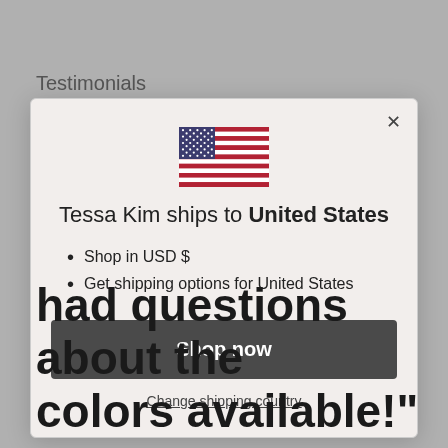Testimonials
[Figure (screenshot): Modal dialog for country shipping selection. Contains a US flag SVG, title text 'Tessa Kim ships to United States', bullet points listing 'Shop in USD $' and 'Get shipping options for United States', a dark 'Shop now' button, and a 'Change shipping country' underlined link. An X close button is in the top right corner of the modal.]
had questions about the colors available!"